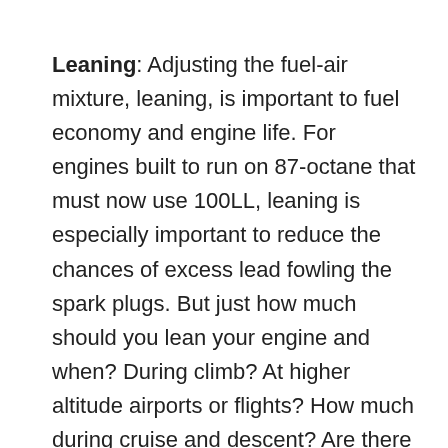Leaning: Adjusting the fuel-air mixture, leaning, is important to fuel economy and engine life. For engines built to run on 87-octane that must now use 100LL, leaning is especially important to reduce the chances of excess lead fowling the spark plugs. But just how much should you lean your engine and when? During climb? At higher altitude airports or flights? How much during cruise and descent? Are there exceptions? The answers to these vital questions come from experience – your experience – and the recommendations of the manufacturer. Some POHs offer specific guidance on when and how much to lean the fuel-air mixture. Others are very general. If your POH is specific, record best practices in your Frugal